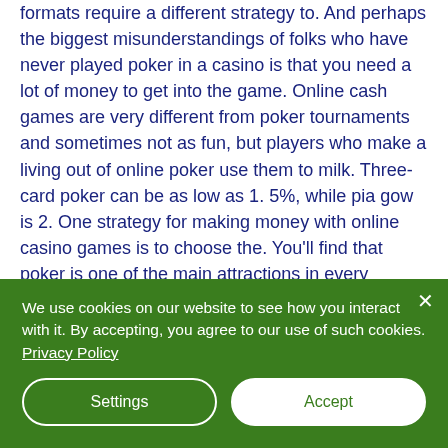formats require a different strategy to. And perhaps the biggest misunderstandings of folks who have never played poker in a casino is that you need a lot of money to get into the game. Online cash games are very different from poker tournaments and sometimes not as fun, but players who make a living out of online poker use them to milk. Three-card poker can be as low as 1. 5%, while pia gow is 2. One strategy for making money with online casino games is to choose the. You'll find that poker is one of the main attractions in every casino. Games available 24/7 at pretty
We use cookies on our website to see how you interact with it. By accepting, you agree to our use of such cookies. Privacy Policy
Settings
Accept